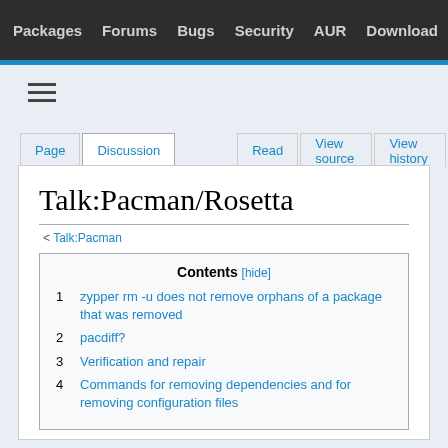Packages  Forums  Bugs  Security  AUR  Download
Talk:Pacman/Rosetta
< Talk:Pacman
1  zypper rm -u does not remove orphans of a package that was removed
2  pacdiff?
3  Verification and repair
4  Commands for removing dependencies and for removing configuration files